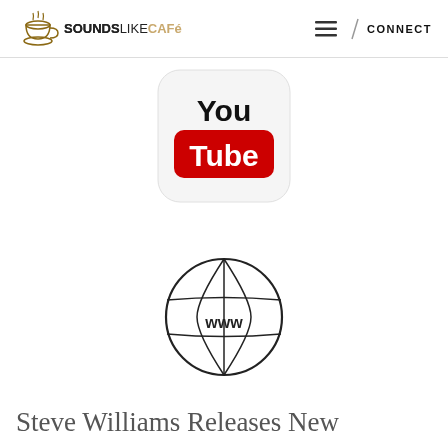SOUNDS LIKE CAFÉ — CONNECT
[Figure (logo): YouTube app icon with 'You' in black bold text above a red rounded rectangle with white 'Tube' text, on a white rounded-square background]
[Figure (illustration): Globe icon with WWW text, outlined in black, representing a website/internet symbol]
Steve Williams Releases New